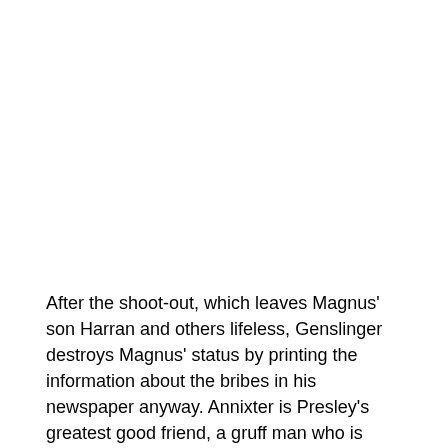After the shoot-out, which leaves Magnus' son Harran and others lifeless, Genslinger destroys Magnus' status by printing the information about the bribes in his newspaper anyway. Annixter is Presley's greatest good friend, a gruff man who is dangerous at social relations, particularly with ladies. He is the proprietor of the Quien Sabe ranch, where he lives a simple lifestyle, usually studying David Copperfield.